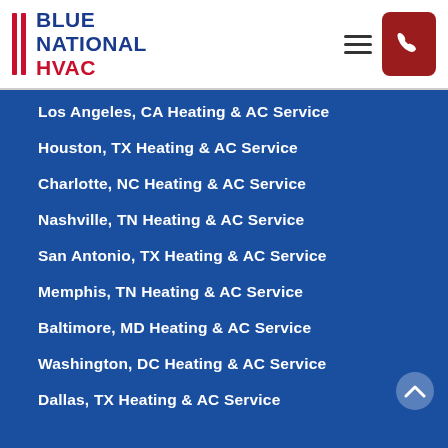BLUE NATIONAL HVAC
Los Angeles, CA Heating & AC Service
Houston, TX Heating & AC Service
Charlotte, NC Heating & AC Service
Nashville, TN Heating & AC Service
San Antonio, TX Heating & AC Service
Memphis, TN Heating & AC Service
Baltimore, MD Heating & AC Service
Washington, DC Heating & AC Service
Dallas, TX Heating & AC Service